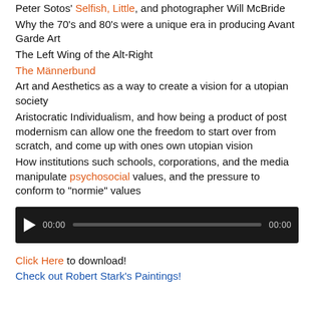Peter Sotos' Selfish, Little, and photographer Will McBride
Why the 70's and 80's were a unique era in producing Avant Garde Art
The Left Wing of the Alt-Right
The Männerbund
Art and Aesthetics as a way to create a vision for a utopian society
Aristocratic Individualism, and how being a product of post modernism can allow one the freedom to start over from scratch, and come up with ones own utopian vision
How institutions such schools, corporations, and the media manipulate psychosocial values, and the pressure to conform to “normie” values
[Figure (other): Audio player widget with play button, time display 00:00, progress bar, and end time 00:00 on dark background]
Click Here to download!
Check out Robert Stark’s Paintings!